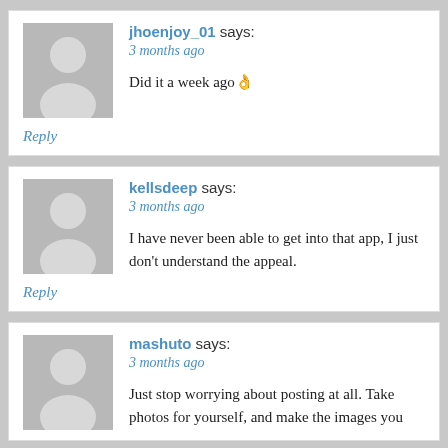jhoenjoy_01 says: 3 months ago
Did it a week ago 👌
Reply
kellsdeep says: 3 months ago
I have never been able to get into that app, I just don't understand the appeal.
Reply
mashuto says: 3 months ago
Just stop worrying about posting at all. Take photos for yourself, and make the images you